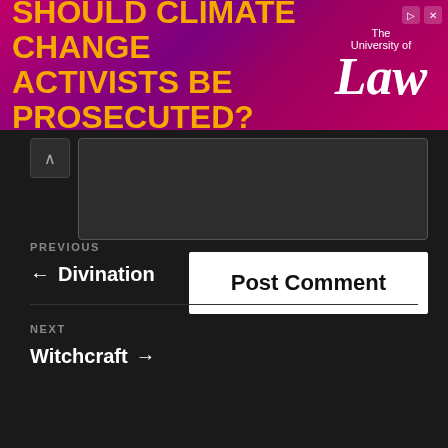[Figure (other): Advertisement banner for The University of Law. Orange text on purple/magenta gradient background reading 'SHOULD CLIMATE CHANGE ACTIVISTS BE PROSECUTED?' with The University of Law logo on right side.]
[Figure (screenshot): Comment text area input box (dark grey), with collapse button showing caret up icon on the left.]
Post Comment
PREVIOUS
← Divination
NEXT
Witchcraft →